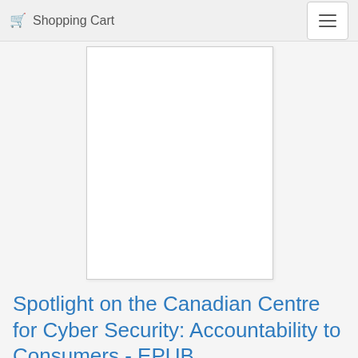Shopping Cart
[Figure (other): Blank white book cover preview area]
Spotlight on the Canadian Centre for Cyber Security: Accountability to Consumers - EPUB